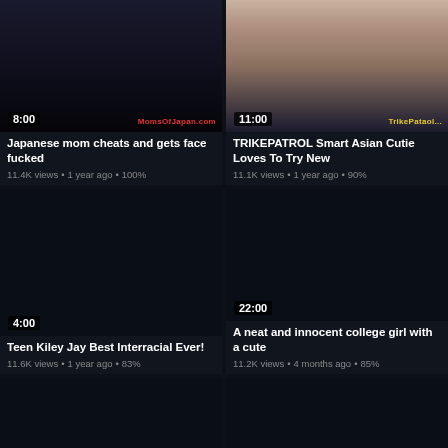[Figure (screenshot): Video thumbnail - dark corridor scene, duration 8:00, watermark MOMSOFJAPAN.COM]
Japanese mom cheats and gets face fucked
11.4K views • 1 year ago • 100%
[Figure (screenshot): Video thumbnail - Asian woman, duration 11:00, watermark TrikePataol]
TRIKEPATROL Smart Asian Cutie Loves To Try New
11.1K views • 1 year ago • 90%
[Figure (screenshot): Video thumbnail - dark, duration 4:00]
Teen Kiley Jay Best Interracial Ever!
11.6K views • 1 year ago • 83%
[Figure (screenshot): Video thumbnail - dark, duration 22:00]
A neat and innocent college girl with a cute
11.2K views • 4 months ago • 85%
[Figure (screenshot): Video thumbnail - dark, partially visible]
[Figure (screenshot): Video thumbnail - dark, partially visible]